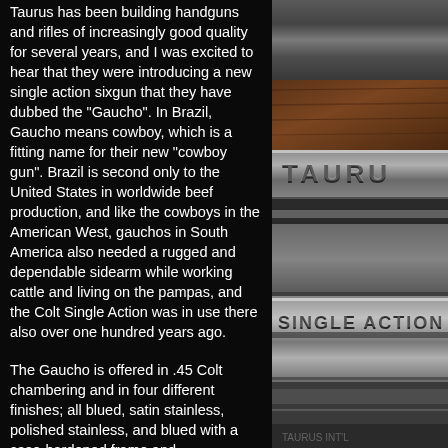Taurus has been building handguns and rifles of increasingly good quality for several years, and I was excited to hear that they were introducing a new single action sixgun that they have dubbed the "Gaucho". In Brazil, Gaucho means cowboy, which is a fitting name for their new "cowboy gun". Brazil is second only to the United States in worldwide beef production, and like the cowboys in the American West, gauchos in South America also needed a rugged and dependable sidearm while working cattle and living on the pampas, and the Colt Single Action was in use there also over one hundred years ago.
[Figure (photo): Close-up photograph of a gun barrel showing the Taurus brand name engraved or stamped on the metal surface]
[Figure (photo): Close-up photograph of a gun barrel showing the text SINGLE ACTION engraved or stamped on the metal surface]
The Gaucho is offered in .45 Colt chambering and in four different finishes; all blued, satin stainless, polished stainless, and blued with a case-hardened frame and